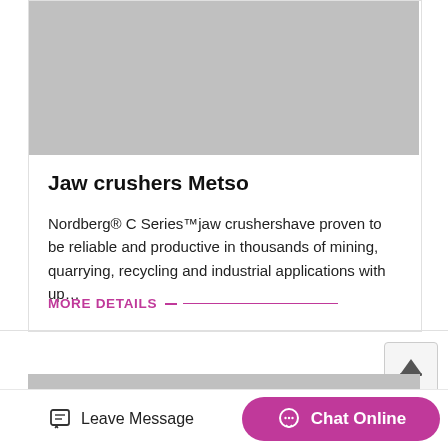[Figure (photo): Gray placeholder image at top of product card for Jaw crushers Metso]
Jaw crushers Metso
Nordberg® C Series™jaw crushershave proven to be reliable and productive in thousands of mining, quarrying, recycling and industrial applications with up…
MORE DETAILS
[Figure (photo): Gray placeholder image at bottom, partially visible second product card]
Leave Message
Chat Online